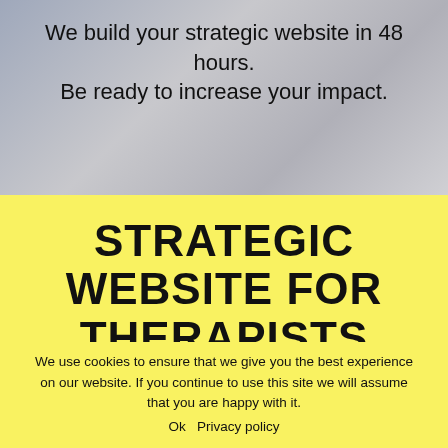We build your strategic website in 48 hours. Be ready to increase your impact.
STRATEGIC WEBSITE FOR THERAPISTS
We use cookies to ensure that we give you the best experience on our website. If you continue to use this site we will assume that you are happy with it.
Ok   Privacy policy